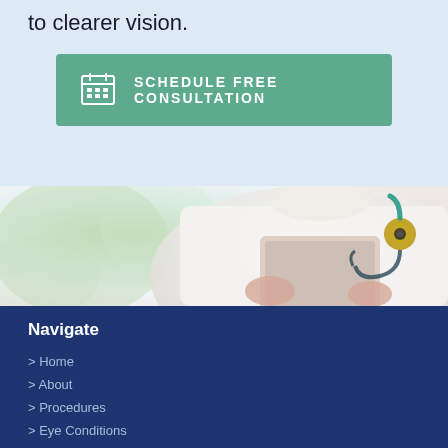to clearer vision.
SCHEDULE FREE CONSULTATION
[Figure (photo): A doctor in a white coat holding a tablet, with a stethoscope visible around their neck. Background is blurred greenery.]
Navigate
> Home
> About
> Procedures
> Eye Conditions